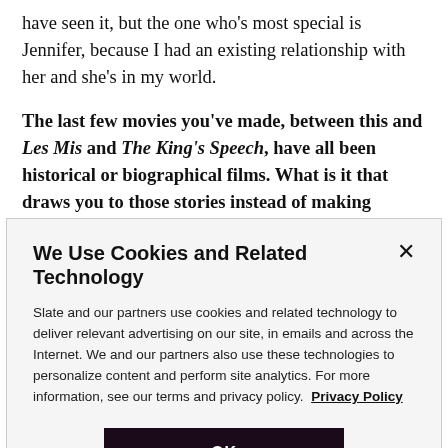have seen it, but the one who's most special is Jennifer, because I had an existing relationship with her and she's in my world.
The last few movies you've made, between this and Les Mis and The King's Speech, have all been historical or biographical films. What is it that draws you to those stories instead of making something more contemporary?
We Use Cookies and Related Technology
Slate and our partners use cookies and related technology to deliver relevant advertising on our site, in emails and across the Internet. We and our partners also use these technologies to personalize content and perform site analytics. For more information, see our terms and privacy policy.  Privacy Policy
OK